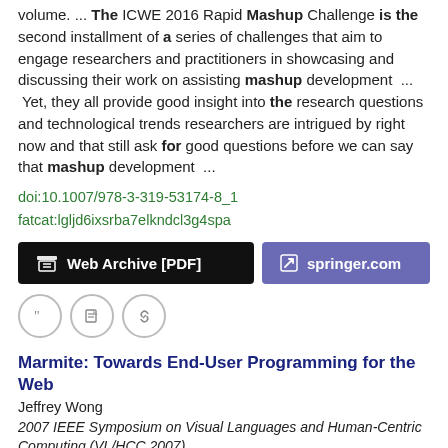volume. ... The ICWE 2016 Rapid Mashup Challenge is the second installment of a series of challenges that aim to engage researchers and practitioners in showcasing and discussing their work on assisting mashup development ... Yet, they all provide good insight into the research questions and technological trends researchers are intrigued by right now and that still ask for good questions before we can say that mashup development ...
doi:10.1007/978-3-319-53174-8_1
fatcat:lgljd6ixsrba7elkndcl3g4spa
[Figure (other): Two buttons: 'Web Archive [PDF]' (dark/black background) and 'springer.com' (purple background), plus three circular icon buttons (quote, edit, link)]
Marmite: Towards End-User Programming for the Web
Jeffrey Wong
2007 IEEE Symposium on Visual Languages and Human-Centric Computing (VL/HCC 2007)
Marmite is a tool that empowers non-programmers to create functionality similar to those found in mashups. 2007 IEEE Symposium on Visual Languages and Human-Centric Computing 0-7695-2987-9/07 $25.00 ... Many information tasks on the web